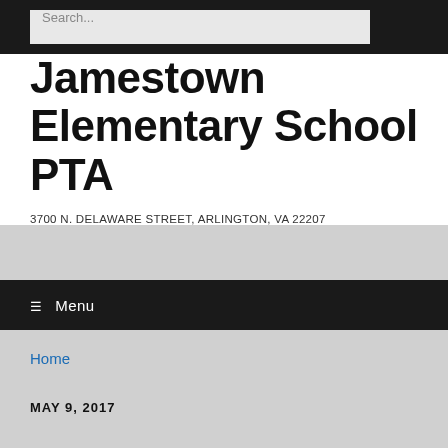Search...
Jamestown Elementary School PTA
3700 N. DELAWARE STREET, ARLINGTON, VA 22207
☰ Menu
Home
MAY 9, 2017